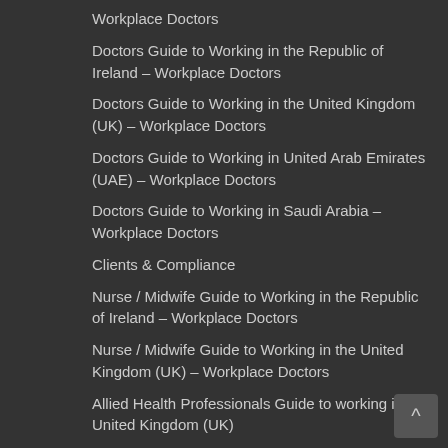Workplace Doctors
Doctors Guide to Working in the Republic of Ireland – Workplace Doctors
Doctors Guide to Working in the United Kingdom (UK) – Workplace Doctors
Doctors Guide to Working in United Arab Emirates (UAE) – Workplace Doctors
Doctors Guide to Working in Saudi Arabia – Workplace Doctors
Clients & Compliance
Nurse / Midwife Guide to Working in the Republic of Ireland – Workplace Doctors
Nurse / Midwife Guide to Working in the United Kingdom (UK) – Workplace Doctors
Allied Health Professionals Guide to working in the United Kingdom (UK)